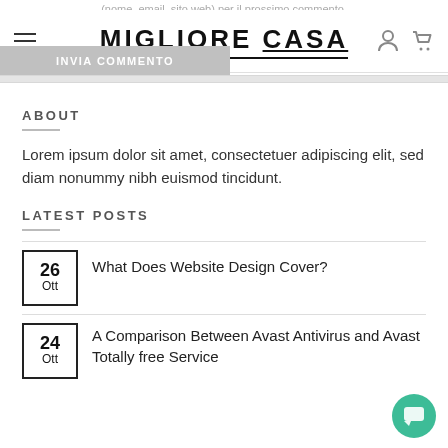(nome, email, sito web) per il prossimo commento.
MIGLIORE CASA
INVIA COMMENTO
ABOUT
Lorem ipsum dolor sit amet, consectetuer adipiscing elit, sed diam nonummy nibh euismod tincidunt.
LATEST POSTS
26 Ott — What Does Website Design Cover?
24 Ott — A Comparison Between Avast Antivirus and Avast Totally free Service